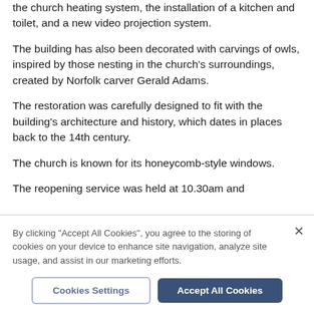the church heating system, the installation of a kitchen and toilet, and a new video projection system.
The building has also been decorated with carvings of owls, inspired by those nesting in the church's surroundings, created by Norfolk carver Gerald Adams.
The restoration was carefully designed to fit with the building's architecture and history, which dates in places back to the 14th century.
The church is known for its honeycomb-style windows.
The reopening service was held at 10.30am and
By clicking "Accept All Cookies", you agree to the storing of cookies on your device to enhance site navigation, analyze site usage, and assist in our marketing efforts.